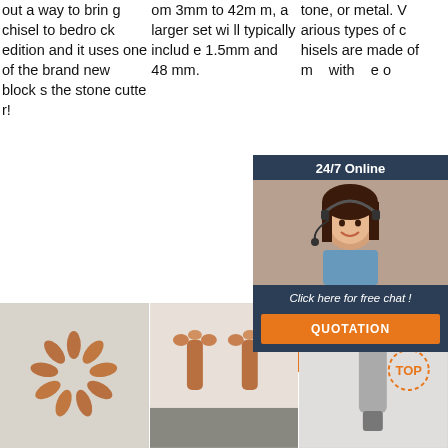out a way to bring chisel to bedrock edition and it uses one of the brand new blocks the stone cutter!
om 3mm to 42mm, a larger set will typically include 1.5mm and 48mm.
tone, or metal. Various types of chisels are made of m... with... e or...
[Figure (photo): Chat widget with woman in headset, 24/7 Online label, Click here for free chat!, QUOTATION button]
Get Price
Get Price
[Figure (photo): Multiple bronze/copper chisel tips arranged in a starburst pattern on grey surface]
[Figure (photo): Two bronze/copper chisel tips standing upright on grey surface]
[Figure (photo): Grey metal drill bit or chisel tip with TOP badge overlay in orange]